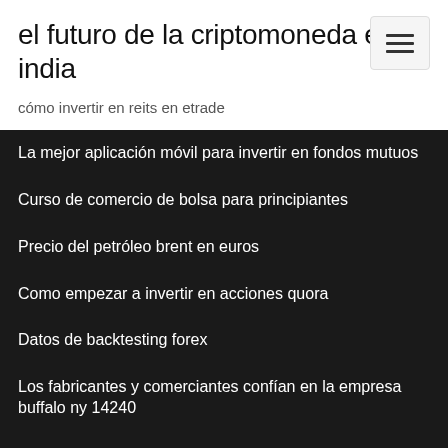el futuro de la criptomoneda en india
cómo invertir en reits en etrade
La mejor aplicación móvil para invertir en fondos mutuos
Curso de comercio de bolsa para principiantes
Precio del petróleo brent en euros
Como empezar a invertir en acciones quora
Datos de backtesting forex
Los fabricantes y comerciantes confían en la empresa buffalo ny 14240
Almacén de ggg
Objetivo de precio de acciones nvee